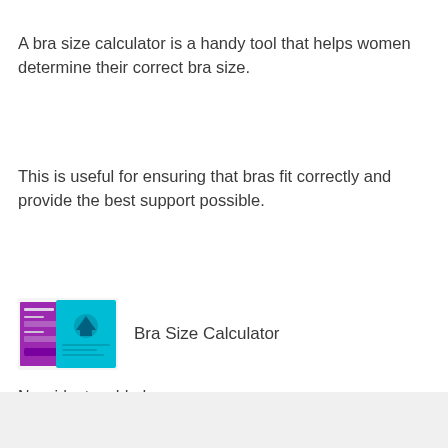A bra size calculator is a handy tool that helps women determine their correct bra size.
This is useful for ensuring that bras fit correctly and provide the best support possible.
[Figure (screenshot): Thumbnail image of Bra Size Calculator app/tool showing a form interface with purple and teal colors]
Bra Size Calculator
No widgets added